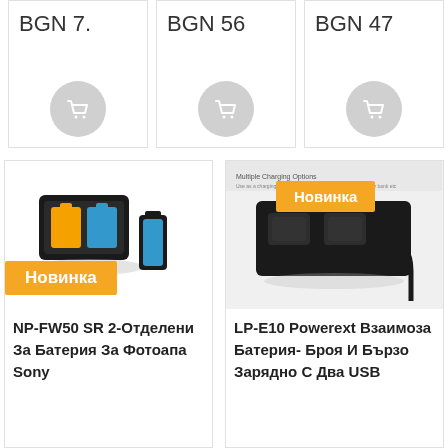BGN 7.
BGN 56
BGN 47
[Figure (illustration): Product card with battery charger image, orange Новинка badge, text: NP-FW50 SR 2-Отделени За Батерия За Фотоапа Sony]
NP-FW50 SR 2-Отделени За Батерия За Фотоапа Sony
[Figure (photo): Product card with LP-E10 battery charger image, orange Новинка badge, text: LP-E10 Powerext Взаимоза Батерия- Броя И Бързо Зарядно С Два USB]
LP-E10 Powerext Взаимоза Батерия- Броя И Бързо Зарядно С Два USB